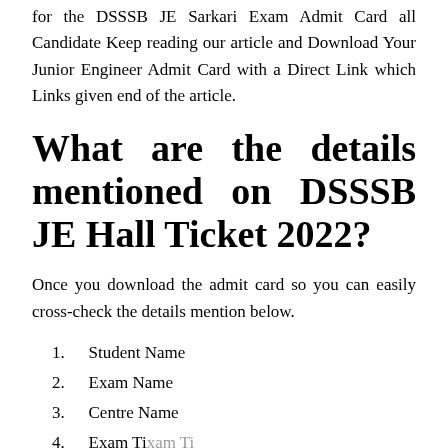for the DSSSB JE Sarkari Exam Admit Card all Candidate Keep reading our article and Download Your Junior Engineer Admit Card with a Direct Link which Links given end of the article.
What are the details mentioned on DSSSB JE Hall Ticket 2022?
Once you download the admit card so you can easily cross-check the details mention below.
1. Student Name
2. Exam Name
3. Centre Name
4. Exam Time